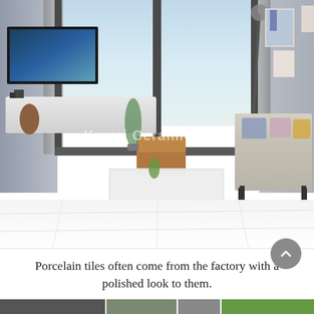[Figure (photo): Interior living room photo showing a modern room with large white polished porcelain tile flooring, a wall-mounted TV on the left, a media console, a glass coffee table in the center, a sofa with pillows on the right, large glass sliding doors in the background leading to an outdoor view, curtains, and artwork on the right wall. A watermark reading 'Kewei Ceramics Co.' is visible in the center of the image.]
Porcelain tiles often come from the factory with a polished look to them.